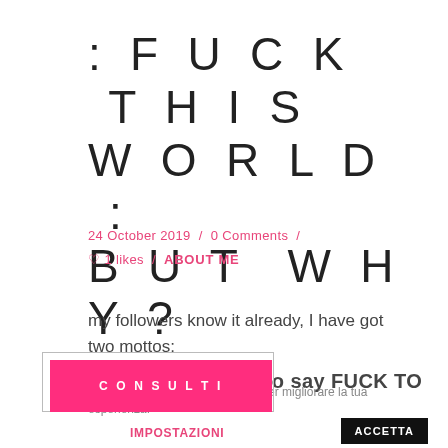: FUCK THIS WORLD : BUT WHY?
24 October 2019 / 0 Comments /
♡ 1 likes / ABOUT ME
my followers know it already, I have got two mottos:
#STAYROCK and so say FUCK TO
CONSULTI
Questo sito web utilizza i cookie per migliorare la tua esperienza.  IMPOSTAZIONI  ACCETTA